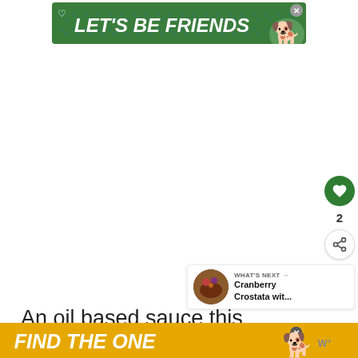[Figure (screenshot): Green advertisement banner reading LET'S BE FRIENDS with a husky dog image]
[Figure (screenshot): White content area with heart/like button (count: 2), share button, and What's Next panel showing Cranberry Crostata wit...]
An oil based sauce this flavorful c...
[Figure (screenshot): Gold advertisement banner at bottom reading FIND THE ONE with a dog image]